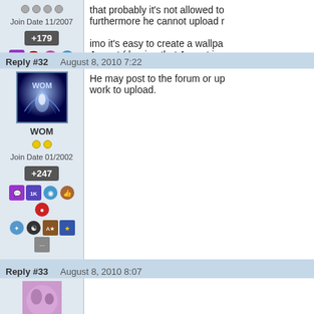that probably it's not allowed to furthermore he cannot upload r
imo it's easy to create a wallpa Ausvet ( hoping that Ausvet is r
Join Date 11/2007
+179
Reply #32    August 8, 2010 7:22
WOM
Join Date 01/2002
+247
He may post to the forum or up work to upload.
Reply #33    August 8, 2010 8:07